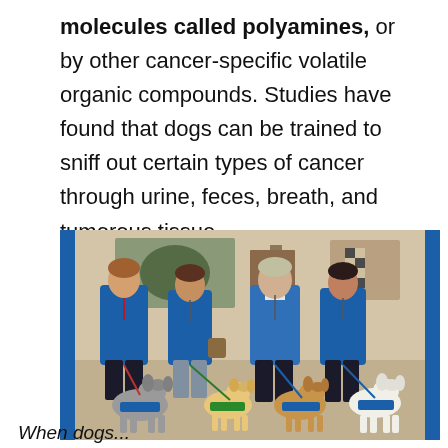molecules called polyamines, or by other cancer-specific volatile organic compounds. Studies have found that dogs can be trained to sniff out certain types of cancer through urine, feces, breath, and tumorous tissue.
[Figure (photo): Four women in blue shirts/jackets standing indoors, each with a therapy or service dog. The dogs include a grey doodle, a yellow Labrador, a golden retriever, and a white goldendoodle, all wearing blue vests or bandanas. The setting appears to be a lobby or conference hall.]
When dogs...